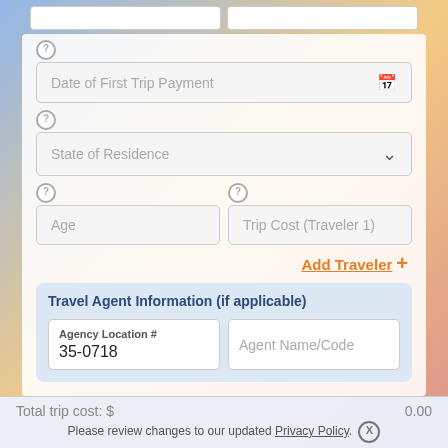[Figure (screenshot): Travel insurance form with fields: Date of First Trip Payment, State of Residence, Age, Trip Cost (Traveler 1), Add Traveler link, Travel Agent Information section with Agency Location # 35-0718 and Agent Name/Code fields. Bottom bar shows Total trip cost: $0.00 and Privacy Policy notice.]
Date of First Trip Payment
State of Residence
Age
Trip Cost (Traveler 1)
Add Traveler +
Travel Agent Information (if applicable)
Agency Location #
35-0718
Agent Name/Code
Total trip cost: $	0.00
Please review changes to our updated Privacy Policy.